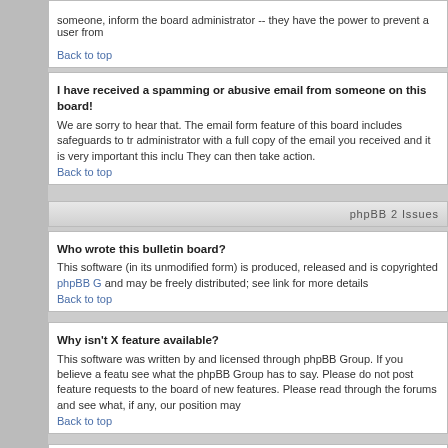someone, inform the board administrator -- they have the power to prevent a user from
Back to top
I have received a spamming or abusive email from someone on this board!
We are sorry to hear that. The email form feature of this board includes safeguards to tr administrator with a full copy of the email you received and it is very important this inclu They can then take action.
Back to top
phpBB 2 Issues
Who wrote this bulletin board?
This software (in its unmodified form) is produced, released and is copyrighted phpBB G and may be freely distributed; see link for more details
Back to top
Why isn't X feature available?
This software was written by and licensed through phpBB Group. If you believe a featu see what the phpBB Group has to say. Please do not post feature requests to the boar of new features. Please read through the forums and see what, if any, our position may
Back to top
Whom do I contact about abusive and/or legal matters related to this board?
You should contact the administrator of this board. If you cannot find who that is, you sh you should in turn contact. If still get no response you should contact the owner of the d (e.g. yahoo, free.fr, f2s.com, etc.), the management or abuse department of that service cannot in any way be held liable over how, where or by whom this board is used. It is ab (cease and desist, liable, defamatory comment, etc.) matter not directly related to the ph do email phpBB Group about any third party use of this software then you should expec
Back to top